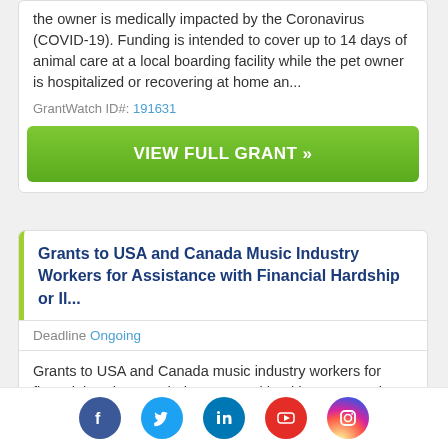the owner is medically impacted by the Coronavirus (COVID-19). Funding is intended to cover up to 14 days of animal care at a local boarding facility while the pet owner is hospitalized or recovering at home an...
GrantWatch ID#: 191631
VIEW FULL GRANT »
Grants to USA and Canada Music Industry Workers for Assistance with Financial Hardship or Il...
Deadline Ongoing
Grants to USA and Canada music industry workers for financial assistance during personal health or economic challenges, including those impacted by Coronavirus (COVID-19). Eligible uses of funds include medical
[Figure (logo): Social media icons: Facebook, Twitter, LinkedIn, YouTube, Instagram]